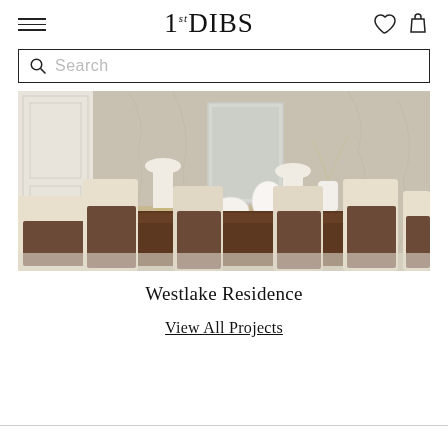1stDIBS
Search
[Figure (photo): Elegant dining room with dark wood table, cream and brown upholstered chairs, white lamps, and decorative mirror on paneled wall — Westlake Residence project photo]
Westlake Residence
View All Projects